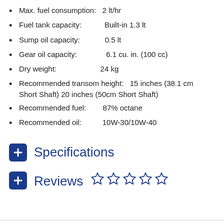Max. fuel consumption:    2 lt/hr
Fuel tank capacity:          Built-in 1.3 lt
Sump oil capacity:            0.5 lt
Gear oil capacity:              6.1 cu. in. (100 cc)
Dry weight:                       24 kg
Recommended transom height:   15 inches (38.1 cm Short Shaft) 20 inches (50cm Short Shaft)
Recommended fuel:        87% octane
Recommended oil:          10W-30/10W-40
Specifications
Reviews